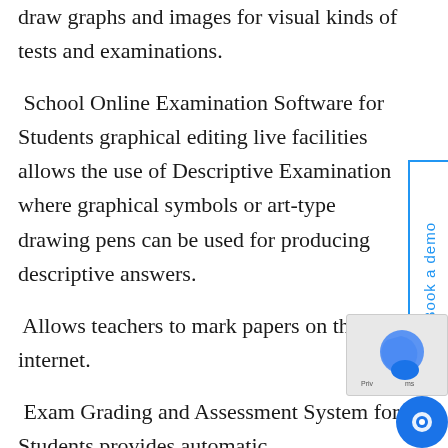draw graphs and images for visual kinds of tests and examinations.
School Online Examination Software for Students graphical editing live facilities allows the use of Descriptive Examination where graphical symbols or art-type drawing pens can be used for producing descriptive answers.
Allows teachers to mark papers on the internet.
Exam Grading and Assessment System for Students provides automatic